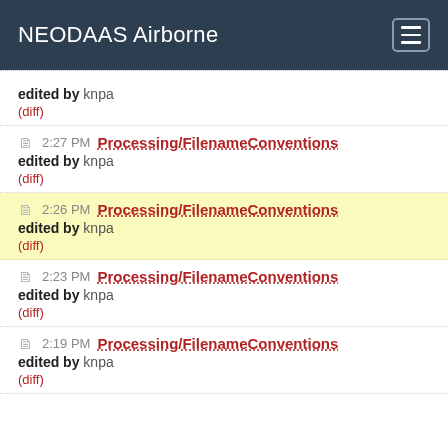NEODAAS Airborne
edited by knpa (diff)
2:27 PM Processing/FilenameConventions edited by knpa (diff)
2:26 PM Processing/FilenameConventions edited by knpa (diff) [highlighted]
2:23 PM Processing/FilenameConventions edited by knpa (diff)
2:19 PM Processing/FilenameConventions edited by knpa (diff)